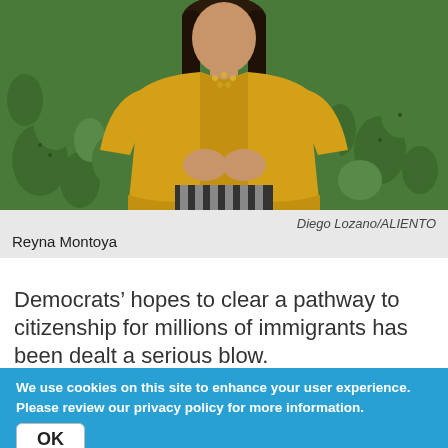[Figure (photo): Woman wearing a yellow/mustard jacket with a beaded necklace, standing in front of green cactus plants. She has dark hair and her hands are clasped in front of her.]
Diego Lozano/ALIENTO
Reyna Montoya
Democrats’ hopes to clear a pathway to citizenship for millions of immigrants has been dealt a serious blow.
We use cookies on this site to enhance your user experience. Please review our privacy policy for more information.
OK